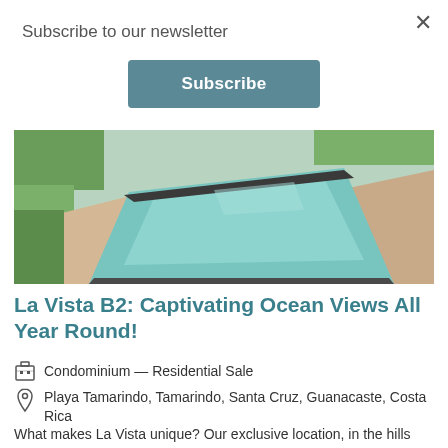Subscribe to our newsletter
Subscribe
[Figure (photo): Aerial/perspective view of a long narrow infinity pool with turquoise water, surrounded by beige/cream stone tiles and green tropical hedges.]
La Vista B2: Captivating Ocean Views All Year Round!
Condominium — Residential Sale
Playa Tamarindo, Tamarindo, Santa Cruz, Guanacaste, Costa Rica
What makes La Vista unique? Our exclusive location, in the hills above all amenities of our exclusive little town.